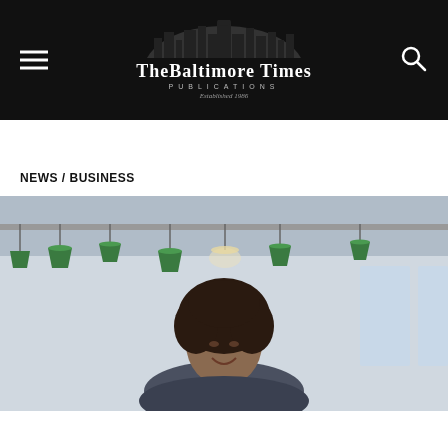The Baltimore Times PUBLICATIONS Established 1986
NEWS / BUSINESS
[Figure (photo): A woman with curly hair smiling and looking down, in an office or café setting with green pendant lights hanging from the ceiling]